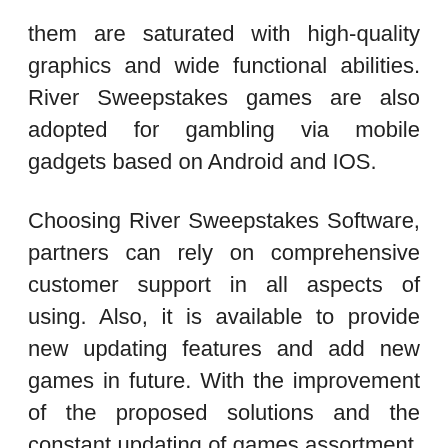them are saturated with high-quality graphics and wide functional abilities. River Sweepstakes games are also adopted for gambling via mobile gadgets based on Android and IOS.
Choosing River Sweepstakes Software, partners can rely on comprehensive customer support in all aspects of using. Also, it is available to provide new updating features and add new games in future. With the improvement of the proposed solutions and the constant updating of games assortment, users will be always interested in visiting your cafe for a new charge of thrills and enjoyment while gambling.
Online sweepstakes platforms may give a distinguished experience in gambling and profit as...